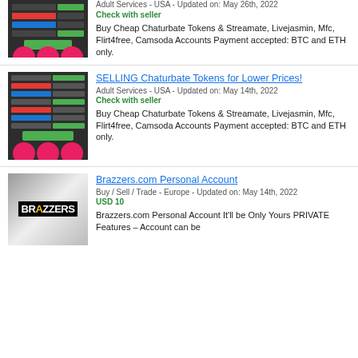[Figure (screenshot): Chaturbate tokens pricing thumbnail - partial view at top]
Adult Services - USA - Updated on: May 26th, 2022
Check with seller
Buy Cheap Chaturbate Tokens & Streamate, Livejasmin, Mfc, Flirt4free, Camsoda Accounts Payment accepted: BTC and ETH only.
[Figure (screenshot): Chaturbate tokens pricing thumbnail]
SELLING Chaturbate Tokens for Lower Prices!
Adult Services - USA - Updated on: May 14th, 2022
Check with seller
Buy Cheap Chaturbate Tokens & Streamate, Livejasmin, Mfc, Flirt4free, Camsoda Accounts Payment accepted: BTC and ETH only.
[Figure (logo): Brazzers logo on grey gradient background]
Brazzers.com Personal Account
Buy / Sell / Trade - Europe - Updated on: May 14th, 2022
USD 10
Brazzers.com Personal Account It'll be Only Yours PRIVATE Features – Account can be